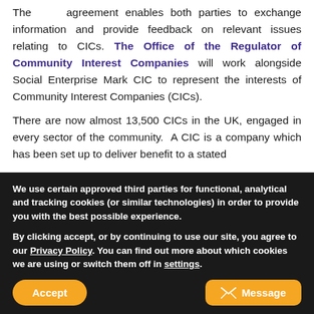The agreement enables both parties to exchange information and provide feedback on relevant issues relating to CICs. The Office of the Regulator of Community Interest Companies will work alongside Social Enterprise Mark CIC to represent the interests of Community Interest Companies (CICs).
There are now almost 13,500 CICs in the UK, engaged in every sector of the community. A CIC is a company which has been set up to deliver benefit to a stated
We use certain approved third parties for functional, analytical and tracking cookies (or similar technologies) in order to provide you with the best possible experience.

By clicking accept, or by continuing to use our site, you agree to our Privacy Policy. You can find out more about which cookies we are using or switch them off in settings.